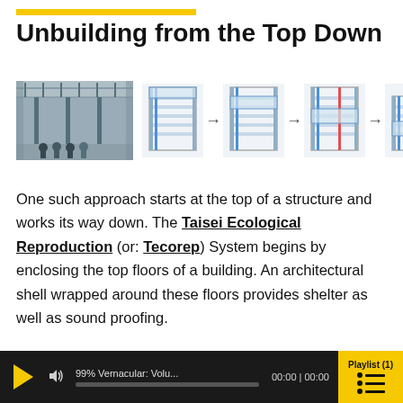Unbuilding from the Top Down
[Figure (illustration): Photo of interior of large industrial building with workers, alongside sequence of four diagrams showing the Tecorep system scaffold enclosing top floors of a building, connected by arrows showing progression.]
One such approach starts at the top of a structure and works its way down. The Taisei Ecological Reproduction (or: Tecorep) System begins by enclosing the top floors of a building. An architectural shell wrapped around these floors provides shelter as well as sound proofing.
[Figure (screenshot): Audio player bar showing: play button (yellow triangle), volume icon, track titled '99% Vernacular: Volu...', progress bar, time display '00:00 | 00:00', and yellow Playlist(1) button with playlist icon lines.]